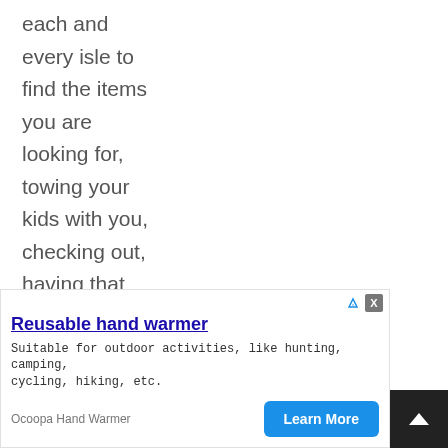each and every isle to find the items you are looking for, towing your kids with you, checking out, having that particular grocery store savers pass
[Figure (other): Advertisement overlay for 'Reusable hand warmer' by Ocoopa Hand Warmer with a 'Learn More' button and close/ad-choice icons]